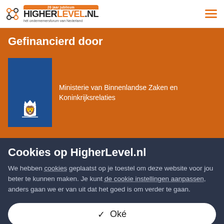HigherLevel.nl - hét ondernemersforum van Nederland
Gefinancierd door
[Figure (logo): Ministry of Interior and Kingdom Relations (Ministerie van Binnenlandse Zaken en Koninkrijksrelaties) logo - dark blue rectangle with Dutch coat of arms in white]
Ministerie van Binnenlandse Zaken en Koninkrijksrelaties
Cookies op HigherLevel.nl
We hebben cookies geplaatst op je toestel om deze website voor jou beter te kunnen maken. Je kunt de cookie instellingen aanpassen, anders gaan we er van uit dat het goed is om verder te gaan.
Oké